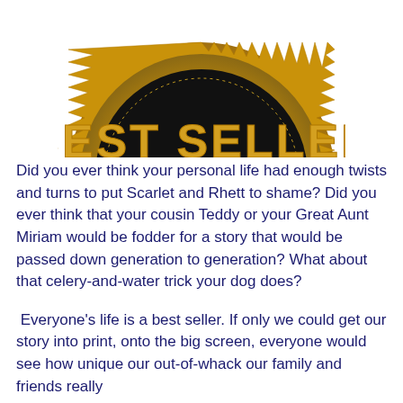[Figure (illustration): Gold 'Best Seller' badge/seal, partially cropped at the top. A circular gold coin-like emblem with serrated/sunburst edges, black background in the center with golden text reading 'BEST SELLER' in large letters, and smaller text repeating 'BEST SELLER' in a curved banner below.]
Did you ever think your personal life had enough twists and turns to put Scarlet and Rhett to shame? Did you ever think that your cousin Teddy or your Great Aunt Miriam would be fodder for a story that would be passed down generation to generation? What about that celery-and-water trick your dog does?
Everyone's life is a best seller. If only we could get our story into print, onto the big screen, everyone would see how unique our out-of-whack our family and friends really